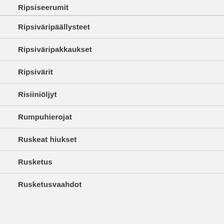Ripsiseerumit
Ripsiväripäällysteet
Ripsiväripakkaukset
Ripsivärit
Risiiniöljyt
Rumpuhierojat
Ruskeat hiukset
Rusketus
Rusketusvaahdot